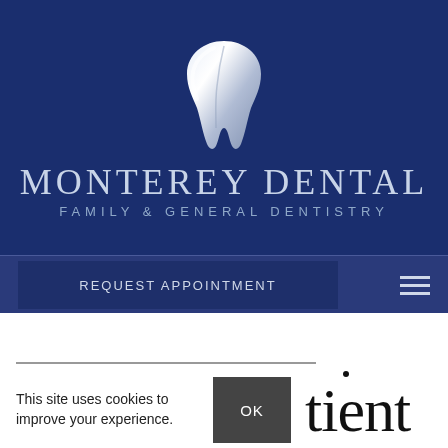[Figure (logo): Monterey Dental logo with silver tooth graphic above text. Text reads MONTEREY DENTAL in large serif letters, FAMILY & GENERAL DENTISTRY in smaller sans-serif letters, all on a dark navy blue background.]
REQUEST APPOINTMENT
This site uses cookies to improve your experience.
OK
tient